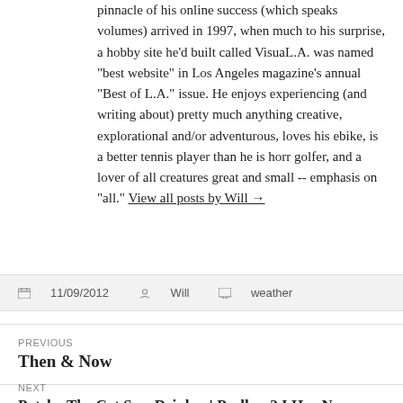pinnacle of his online success (which speaks volumes) arrived in 1997, when much to his surprise, a hobby site he'd built called VisuaL.A. was named "best website" in Los Angeles magazine's annual "Best of L.A." issue. He enjoys experiencing (and writing about) pretty much anything creative, explorational and/or adventurous, loves his ebike, is a better tennis player than he is horr golfer, and a lover of all creatures great and small -- emphasis on "all." View all posts by Will →
11/09/2012   Will   weather
PREVIOUS
Then & Now
NEXT
Patchy The Cat Sez: Drinken' Prollum? I Haz None
Proudly powered by WordPress